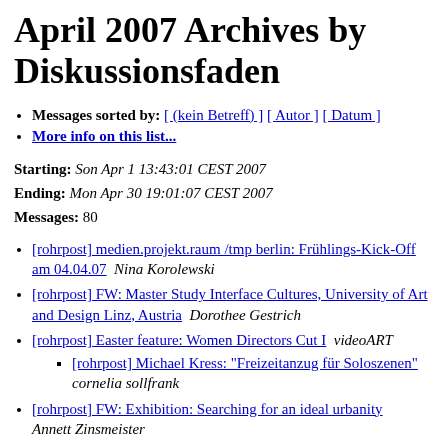April 2007 Archives by Diskussionsfaden
Messages sorted by: [ (kein Betreff) ] [ Autor ] [ Datum ]
More info on this list...
Starting: Son Apr 1 13:43:01 CEST 2007
Ending: Mon Apr 30 19:01:07 CEST 2007
Messages: 80
[rohrpost] medien.projekt.raum /tmp berlin: Frühlings-Kick-Off am 04.04.07   Nina Korolewski
[rohrpost] FW: Master Study Interface Cultures, University of Art and Design Linz, Austria   Dorothee Gestrich
[rohrpost] Easter feature: Women Directors Cut I   videoART
[rohrpost] Michael Kress: "Freizeitanzug für Soloszenen"   cornelia sollfrank
[rohrpost] FW: Exhibition: Searching for an ideal urbanity   Annett Zinsmeister
[rohrpost] Taugshow #10 is online   das ende der nahrungskette
[rohrpost] New video post - Wolfgang Hagen: Was ist ein Medium 2 - eine medienepistemologische Fußnote   Till